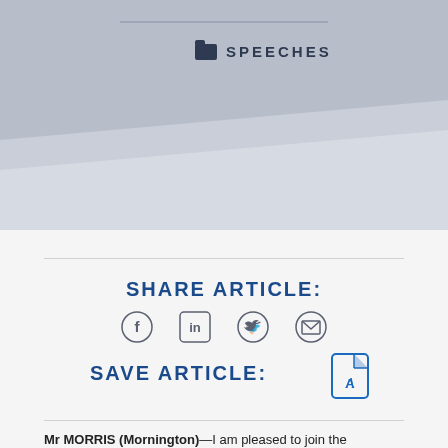[Figure (other): Grey banner background with diagonal shapes and 'SPEECHES' label with folder icon]
SHARE ARTICLE:
[Figure (other): Social sharing icons: Facebook, LinkedIn, Twitter, Email]
SAVE ARTICLE:
[Figure (other): PDF save icon (blue document with Acrobat symbol)]
Mr MORRIS (Mornington)—I am pleased to join the